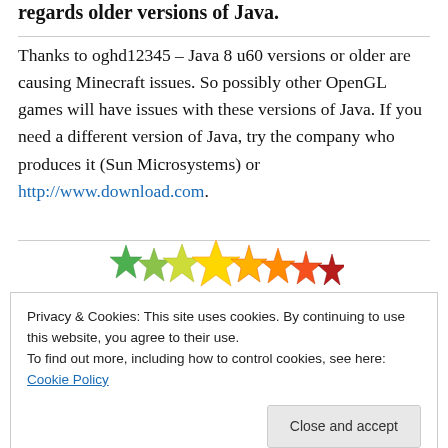regards older versions of Java.
Thanks to oghd12345 – Java 8 u60 versions or older are causing Minecraft issues. So possibly other OpenGL games will have issues with these versions of Java. If you need a different version of Java, try the company who produces it (Sun Microsystems) or http://www.download.com.
[Figure (illustration): Row of star rating icons in gradient colors from green to red/dark, representing a star rating widget.]
Privacy & Cookies: This site uses cookies. By continuing to use this website, you agree to their use.
To find out more, including how to control cookies, see here: Cookie Policy
Close and accept